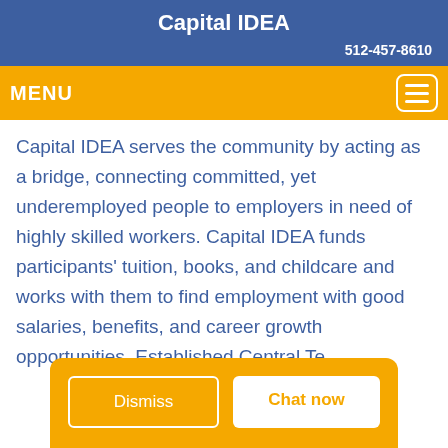Capital IDEA
512-457-8610
MENU
Capital IDEA serves the community by acting as a bridge, connecting committed, yet underemployed people to employers in need of highly skilled workers. Capital IDEA funds participants' tuition, books, and childcare and works with them to find employment with good salaries, benefits, and career growth opportunities. Established Central Te
Dismiss
Chat now